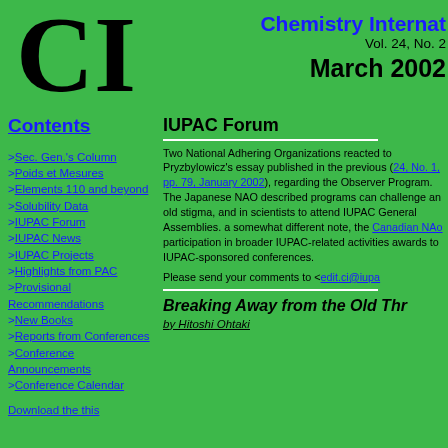CI — Chemistry International, Vol. 24, No. 2, March 2002
Contents
>Sec. Gen.'s Column
>Poids et Mesures
>Elements 110 and beyond
>Solubility Data
>IUPAC Forum
>IUPAC News
>IUPAC Projects
>Highlights from PAC
>Provisional Recommendations
>New Books
>Reports from Conferences
>Conference Announcements
>Conference Calendar
>Download the this
IUPAC Forum
Two National Adhering Organizations reacted to Pryzbylowicz's essay published in the previous issue (CI 24, No. 1, pp. 79, January 2002), regarding the Observer Program. The Japanese NAO described how programs can challenge an old stigma, and inspire young scientists to attend IUPAC General Assemblies. Striking a somewhat different note, the Canadian NAO noted participation in broader IUPAC-related activities by giving awards to IUPAC-sponsored conferences.
Please send your comments to <edit.ci@iupa...
Breaking Away from the Old Thr...
by Hitoshi Ohtaki